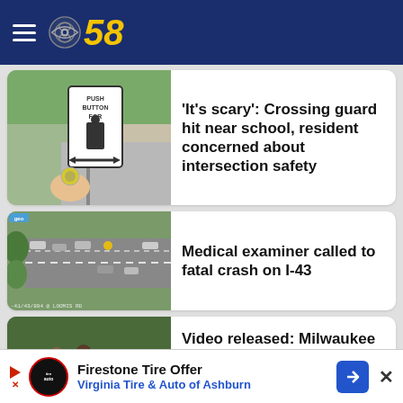CBS 58
[Figure (screenshot): Thumbnail image of a pedestrian crossing button sign near a road]
'It's scary': Crossing guard hit near school, resident concerned about intersection safety
[Figure (screenshot): Aerial highway camera view showing traffic on I-43 near Loomis Rd]
Medical examiner called to fatal crash on I-43
[Figure (screenshot): Police body camera or dashcam footage showing officers with a man near a car]
Video released: Milwaukee man
Firestone Tire Offer
Virginia Tire & Auto of Ashburn